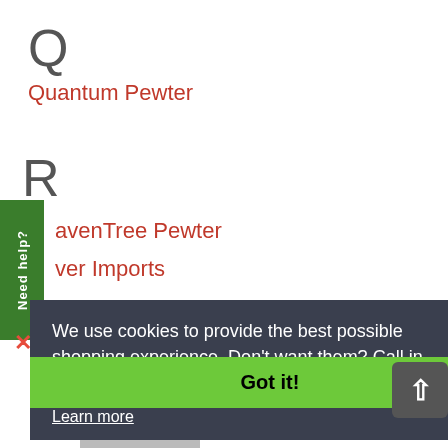Q
Quantum Pewter
R
RavenTree Pewter
River Imports
[Figure (screenshot): Cookie consent banner overlay with dark background reading: We use cookies to provide the best possible shopping experience. Don't want them? Call in your order US Toll Free 877-822-3318. Learn more. With a green Got it! button and Astra branding.]
We use cookies to provide the best possible shopping experience. Don't want them? Call in your order US Toll Free 877-822-3318.
Learn more
Got it!